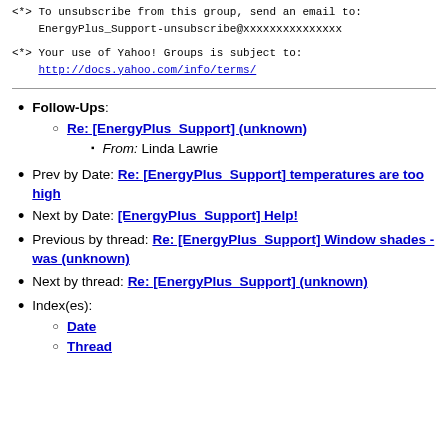<*> To unsubscribe from this group, send an email to:
    EnergyPlus_Support-unsubscribe@xxxxxxxxxxxxxxx
<*> Your use of Yahoo! Groups is subject to:
    http://docs.yahoo.com/info/terms/
Follow-Ups:
  Re: [EnergyPlus_Support] (unknown)
    From: Linda Lawrie
Prev by Date: Re: [EnergyPlus_Support] temperatures are too high
Next by Date: [EnergyPlus_Support] Help!
Previous by thread: Re: [EnergyPlus_Support] Window shades - was (unknown)
Next by thread: Re: [EnergyPlus_Support] (unknown)
Index(es):
  Date
  Thread